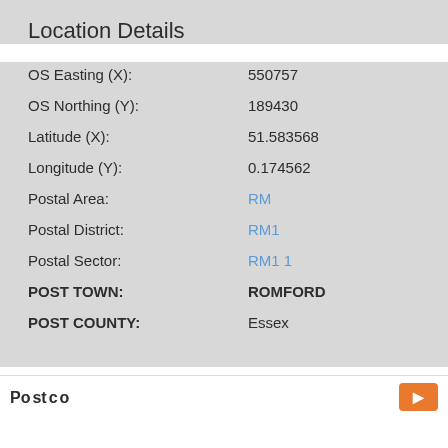Location Details
OS Easting (X): 550757
OS Northing (Y): 189430
Latitude (X): 51.583568
Longitude (Y): 0.174562
Postal Area: RM
Postal District: RM1
Postal Sector: RM1 1
POST TOWN: ROMFORD
POST COUNTY: Essex